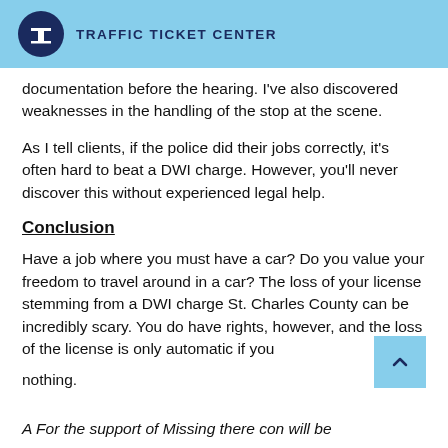TRAFFIC TICKET CENTER
documentation before the hearing. I've also discovered weaknesses in the handling of the stop at the scene.
As I tell clients, if the police did their jobs correctly, it's often hard to beat a DWI charge. However, you'll never discover this without experienced legal help.
Conclusion
Have a job where you must have a car? Do you value your freedom to travel around in a car? The loss of your license stemming from a DWI charge St. Charles County can be incredibly scary. You do have rights, however, and the loss of the license is only automatic if you nothing.
A For the support of Missing there con will be